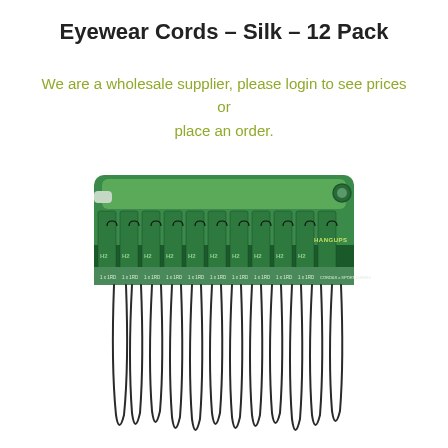Eyewear Cords – Silk – 12 Pack
We are a wholesale supplier, please login to see prices or place an order.
[Figure (photo): A 12-pack of silk eyewear cords, shown hanging from a green display card with HANGUPS branding. Multiple dark/black cords loop down from the card.]